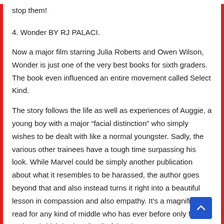stop them!
4. Wonder BY RJ PALACI.
Now a major film starring Julia Roberts and Owen Wilson, Wonder is just one of the very best books for sixth graders. The book even influenced an entire movement called Select Kind.
The story follows the life as well as experiences of Auggie, a young boy with a major “facial distinction” who simply wishes to be dealt with like a normal youngster. Sadly, the various other trainees have a tough time surpassing his look. While Marvel could be simply another publication about what it resembles to be harassed, the author goes beyond that and also instead turns it right into a beautiful lesson in compassion and also empathy. It’s a magnificent read for any kind of middle who has ever before only felt various (which is virtually all of them).